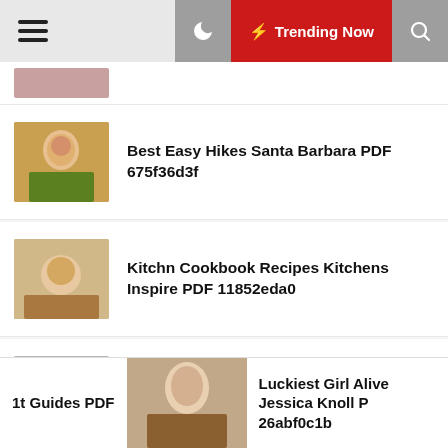Trending Now
[Figure (photo): Partial thumbnail of a person at the top of the list]
Best Easy Hikes Santa Barbara PDF 675f36d3f
Kitchn Cookbook Recipes Kitchens Inspire PDF 11852eda0
Galapagos Wildlife 2nd Visitors Travel PDF 908ff6d0a
1t Guides PDF
[Figure (photo): Photo of a blonde woman outdoors]
Luckiest Girl Alive Jessica Knoll P 26abf0c1b